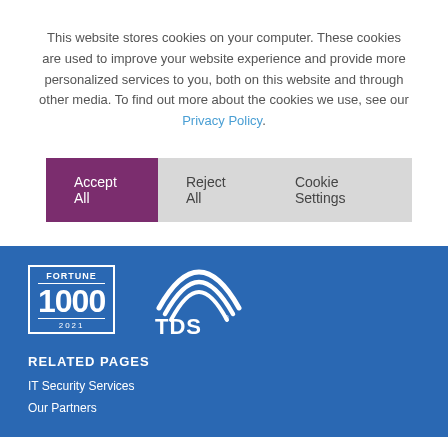This website stores cookies on your computer. These cookies are used to improve your website experience and provide more personalized services to you, both on this website and through other media. To find out more about the cookies we use, see our Privacy Policy.
[Figure (other): Three buttons: Accept All (purple background), Reject All (grey background), Cookie Settings (grey background)]
[Figure (logo): Fortune 1000 2021 badge logo and TDS logo in white on blue background]
RELATED PAGES
IT Security Services
Our Partners